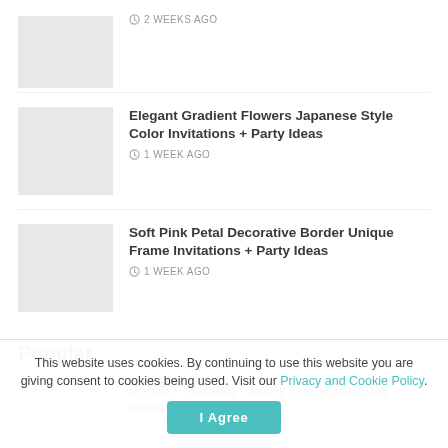[Figure (photo): Thumbnail image placeholder (gray box) for first article]
2 WEEKS AGO
[Figure (photo): Thumbnail image placeholder (gray box) for Elegant Gradient Flowers article]
Elegant Gradient Flowers Japanese Style Color Invitations + Party Ideas
1 WEEK AGO
[Figure (photo): Thumbnail image placeholder (gray box) for Soft Pink Petal article]
Soft Pink Petal Decorative Border Unique Frame Invitations + Party Ideas
1 WEEK AGO
Popular
[Figure (photo): Thumbnail image placeholder (gray box) for FREE Printable article]
(FREE Printable) – Leafy Frame Birthday Invitation Templates
This website uses cookies. By continuing to use this website you are giving consent to cookies being used. Visit our Privacy and Cookie Policy.